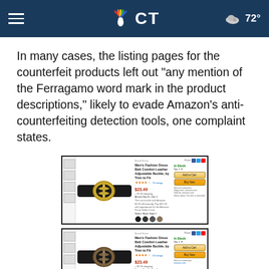NBC Connecticut — Navigation bar with hamburger menu, NBC CT logo, weather 72°
In many cases, the listing pages for the counterfeit products left out "any mention of the Ferragamo word mark in the product descriptions," likely to evade Amazon's anti-counterfeiting detection tools, one complaint states.
[Figure (screenshot): Amazon product listing screenshot showing Men's Fashion Dress Belt Comfort Leather Adjustable Buckle, by Trim to Fit with gold buckle belt image, price around $23.49, Add to Cart and Buy Now buttons]
[Figure (screenshot): Amazon product listing screenshot showing Men's Fashion Dress Belt Comfort Leather Adjustable Buckle, by Trim to Fit with antique/bronze buckle belt image, price around $23.49, Add to Cart and Buy Now buttons]